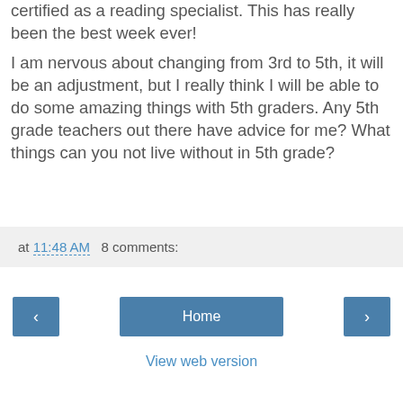certified as a reading specialist. This has really been the best week ever!
I am nervous about changing from 3rd to 5th, it will be an adjustment, but I really think I will be able to do some amazing things with 5th graders. Any 5th grade teachers out there have advice for me? What things can you not live without in 5th grade?
at 11:48 AM   8 comments:
Home
View web version